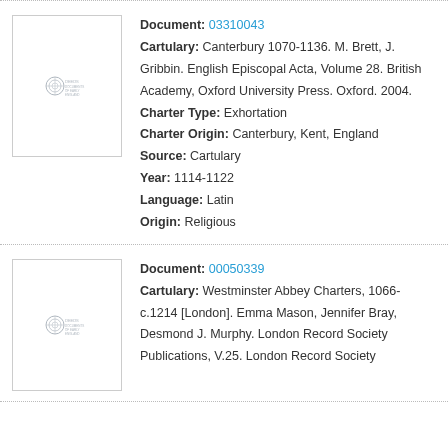[Figure (other): Thumbnail image placeholder with DEEDS logo for document 03310043]
Document: 03310043
Cartulary: Canterbury 1070-1136. M. Brett, J. Gribbin. English Episcopal Acta, Volume 28. British Academy, Oxford University Press. Oxford. 2004.
Charter Type: Exhortation
Charter Origin: Canterbury, Kent, England
Source: Cartulary
Year: 1114-1122
Language: Latin
Origin: Religious
[Figure (other): Thumbnail image placeholder with DEEDS logo for document 00050339]
Document: 00050339
Cartulary: Westminster Abbey Charters, 1066-c.1214 [London]. Emma Mason, Jennifer Bray, Desmond J. Murphy. London Record Society Publications, V.25. London Record Society